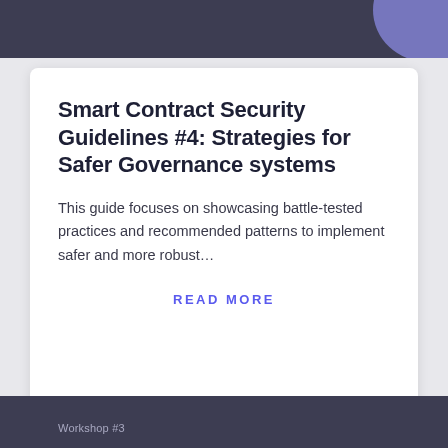Smart Contract Security Guidelines #4: Strategies for Safer Governance systems
This guide focuses on showcasing battle-tested practices and recommended patterns to implement safer and more robust...
READ MORE
Workshop #3